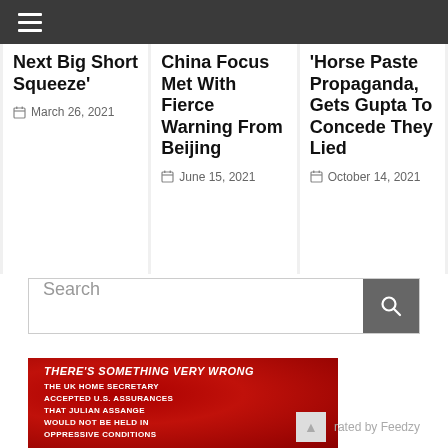≡ (hamburger menu)
Next Big Short Squeeze'
March 26, 2021
China Focus Met With Fierce Warning From Beijing
June 15, 2021
'Horse Paste Propaganda, Gets Gupta To Concede They Lied
October 14, 2021
Search
[Figure (photo): Red background image with bold italic text reading 'THERE'S SOMETHING VERY WRONG' and subtext about UK Home Secretary accepting US assurances that Julian Assange would not be held in oppressive conditions. Generated by Feedzy watermark visible.]